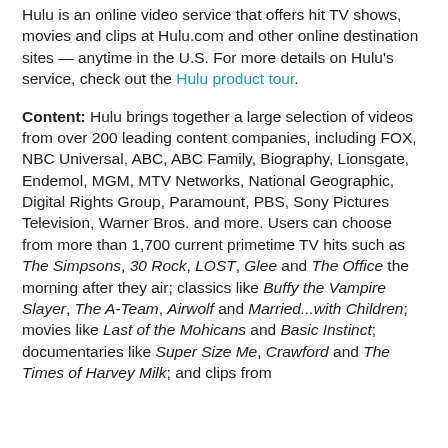Hulu is an online video service that offers hit TV shows, movies and clips at Hulu.com and other online destination sites — anytime in the U.S. For more details on Hulu's service, check out the Hulu product tour.
Content: Hulu brings together a large selection of videos from over 200 leading content companies, including FOX, NBC Universal, ABC, ABC Family, Biography, Lionsgate, Endemol, MGM, MTV Networks, National Geographic, Digital Rights Group, Paramount, PBS, Sony Pictures Television, Warner Bros. and more. Users can choose from more than 1,700 current primetime TV hits such as The Simpsons, 30 Rock, LOST, Glee and The Office the morning after they air; classics like Buffy the Vampire Slayer, The A-Team, Airwolf and Married...with Children; movies like Last of the Mohicans and Basic Instinct; documentaries like Super Size Me, Crawford and The Times of Harvey Milk; and clips from